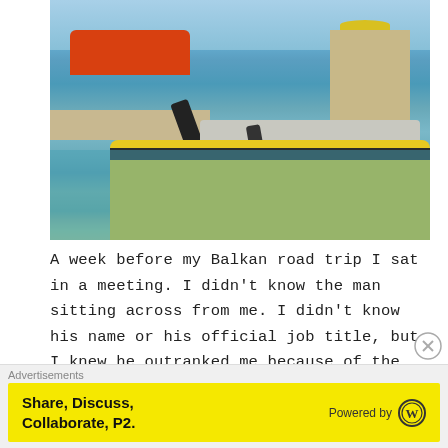[Figure (photo): A harbor scene with multiple boats moored at a dock. A yellow boat with an outboard motor is prominent in the foreground. Behind it are gray and white covered boats. A red/orange boat is visible on the left. Stone buildings and umbrellas are visible in the background on a sunny day.]
A week before my Balkan road trip I sat in a meeting. I didn't know the man sitting across from me. I didn't know his name or his official job title, but I knew he outranked me because of the way he carried himself.
Advertisements
Share, Discuss, Collaborate, P2.
Powered by